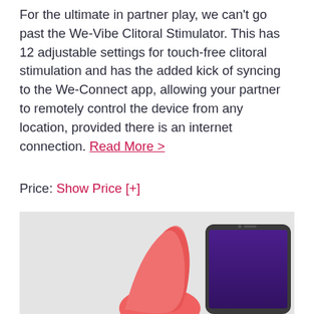For the ultimate in partner play, we can't go past the We-Vibe Clitoral Stimulator. This has 12 adjustable settings for touch-free clitoral stimulation and has the added kick of syncing to the We-Connect app, allowing your partner to remotely control the device from any location, provided there is an internet connection. Read More >
Price: Show Price [+]
[Figure (photo): Product photo showing a pink We-Vibe Clitoral Stimulator device next to a smartphone displaying a purple app screen, on a light gray background.]